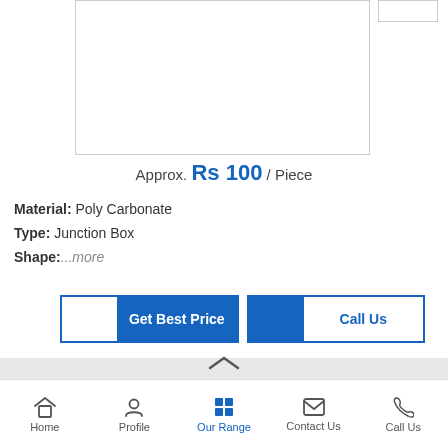[Figure (photo): Product image area showing a white rectangular box/enclosure, with a small thumbnail image in top right]
Approx. Rs 100 / Piece
Material: Poly Carbonate
Type: Junction Box
Shape:....more
Get Best Price
Call Us
Polycarbonate Enclosures (Junction Boxes)
Home | Profile | Our Range | Contact Us | Call Us